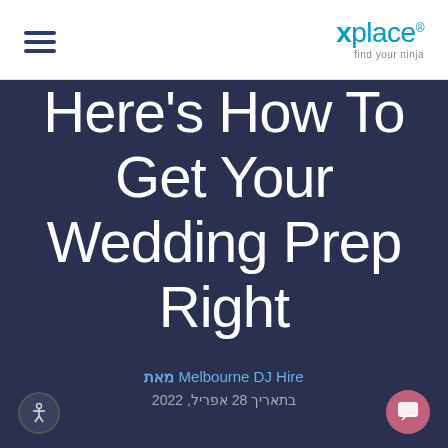xplace® find your ninja
Here's How To Get Your Wedding Prep Right
מאת Melbourne DJ Hire
בתאריך 28 אפריל, 2022